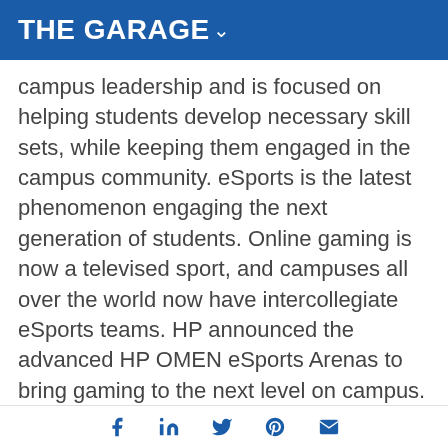THE GARAGE
campus leadership and is focused on helping students develop necessary skill sets, while keeping them engaged in the campus community. eSports is the latest phenomenon engaging the next generation of students. Online gaming is now a televised sport, and campuses all over the world now have intercollegiate eSports teams. HP announced the advanced HP OMEN eSports Arenas to bring gaming to the next level on campus. Whether students are a sponsored gaming pro or a first-year student taking a break from homework, HP OMEN delivers the goods. Universities can give their
Social sharing icons: Facebook, LinkedIn, Twitter, Pinterest, Email